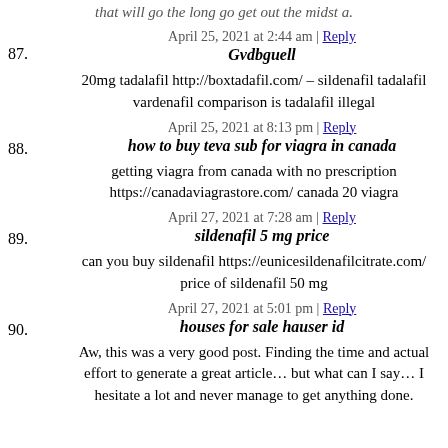that will go the long go get out the midst a.
April 25, 2021 at 2:44 am | Reply
87. Gvdbguell
20mg tadalafil http://boxtadafil.com/ – sildenafil tadalafil vardenafil comparison is tadalafil illegal
April 25, 2021 at 8:13 pm | Reply
88. how to buy teva sub for viagra in canada
getting viagra from canada with no prescription https://canadaviagrastore.com/ canada 20 viagra
April 27, 2021 at 7:28 am | Reply
89. sildenafil 5 mg price
can you buy sildenafil https://eunicesildenafilcitrate.com/ price of sildenafil 50 mg
April 27, 2021 at 5:01 pm | Reply
90. houses for sale hauser id
Aw, this was a very good post. Finding the time and actual effort to generate a great article… but what can I say… I hesitate a lot and never manage to get anything done.